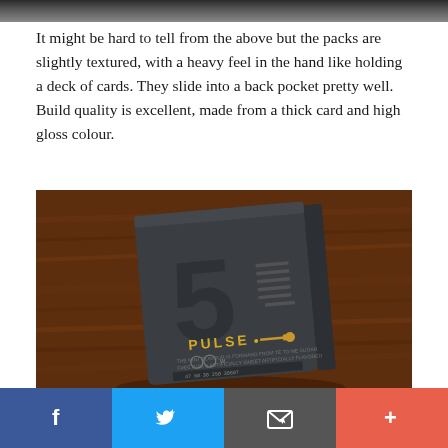[Figure (photo): Top strip of a dark/blurred photo at the very top of the page]
It might be hard to tell from the above but the packs are slightly textured, with a heavy feel in the hand like holding a deck of cards. They slide into a back pocket pretty well. Build quality is excellent, made from a thick card and high gloss colour.
[Figure (photo): Photo of a '5 PULSE' gum pack lying on a dark wooden surface. The pack is dark grey/charcoal with the number 5 and PULSE branding in yellow text.]
[Figure (infographic): Social sharing bar at the bottom with four buttons: Facebook (f), Twitter (bird), Email (envelope icon), and Plus (+)]